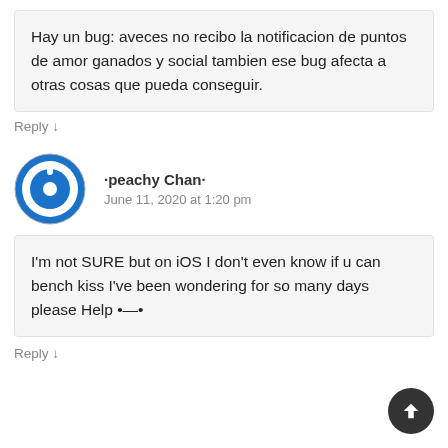Hay un bug: aveces no recibo la notificacion de puntos de amor ganados y social tambien ese bug afecta a otras cosas que pueda conseguir.
Reply ↓
·peachy Chan·
June 11, 2020 at 1:20 pm
I'm not SURE but on iOS I don't even know if u can bench kiss I've been wondering for so many days please Help •—•
Reply ↓